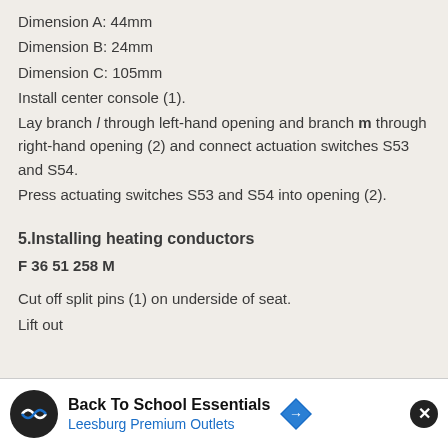Dimension A: 44mm
Dimension B: 24mm
Dimension C: 105mm
Install center console (1).
Lay branch l through left-hand opening and branch m through right-hand opening (2) and connect actuation switches S53 and S54.
Press actuating switches S53 and S54 into opening (2).
5.Installing heating conductors
F 36 51 258 M
Cut off split pins (1) on underside of seat.
Lift out